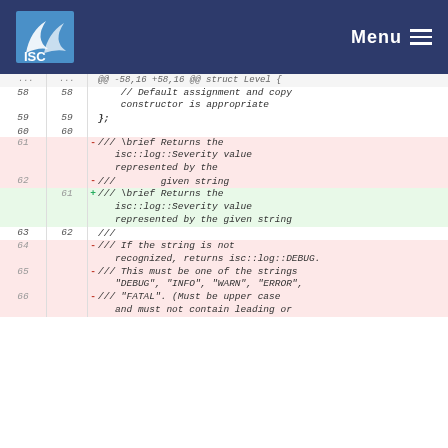ISC Menu
File diff viewer showing changes to src/log/logger_level header file. Hunk @@ -58,16 +58,16 @@ struct Level {. Lines 58-60 unchanged. Lines 61-62 deleted (red): /// \brief Returns the isc::log::Severity value represented by the / ///        given string. Line 61 added (green): + /// \brief Returns the isc::log::Severity value represented by the given string. Line 63/62 unchanged: ///. Lines 64-66 deleted: /// If the string is not recognized, returns isc::log::DEBUG. / /// This must be one of the strings "DEBUG", "INFO", "WARN", "ERROR", / /// "FATAL". (Must be upper case and must not contain leading or